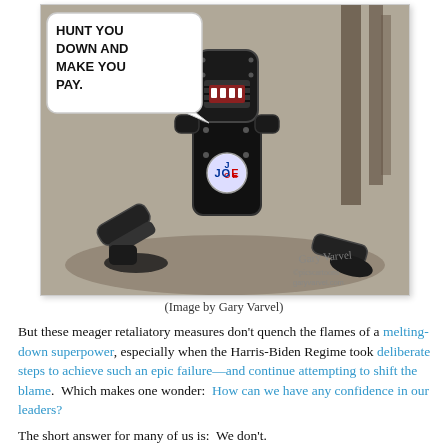[Figure (illustration): Political cartoon by Gary Varvel showing a black-armored knight figure wearing a 'JOE' campaign button with a speech bubble saying 'HUNT YOU DOWN AND MAKE YOU PAY.' The figure's limbs are scattered on the ground, referencing the Black Knight from Monty Python. Signed 'Gary Varvel' and 'garyvarvel.com'.]
(Image by Gary Varvel)
But these meager retaliatory measures don't quench the flames of a melting-down superpower, especially when the Harris-Biden Regime took deliberate steps to achieve such an epic failure—and continue attempting to shift the blame.  Which makes one wonder:  How can we have any confidence in our leaders?
The short answer for many of us is:  We don't.